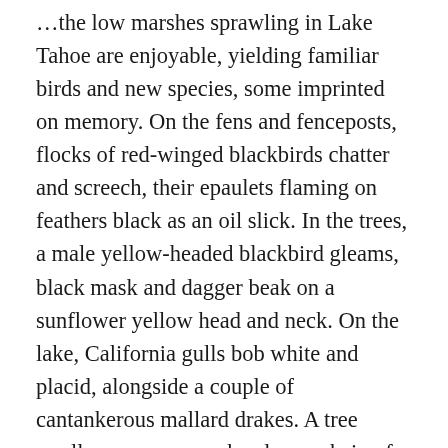…the low marshes sprawling in Lake Tahoe are enjoyable, yielding familiar birds and new species, some imprinted on memory. On the fens and fenceposts, flocks of red-winged blackbirds chatter and screech, their epaulets flaming on feathers black as an oil slick. In the trees, a male yellow-headed blackbird gleams, black mask and dagger beak on a sunflower yellow head and neck. On the lake, California gulls bob white and placid, alongside a couple of cantankerous mallard drakes. A tree swallow sweeps overhead, as a skein of Canada geese whips past, and flying even higher, a dark, slow raven rends the air with raucous cries. Later in the afternoon, as we head back to the car park, after seeing the sights, after the photos with lake